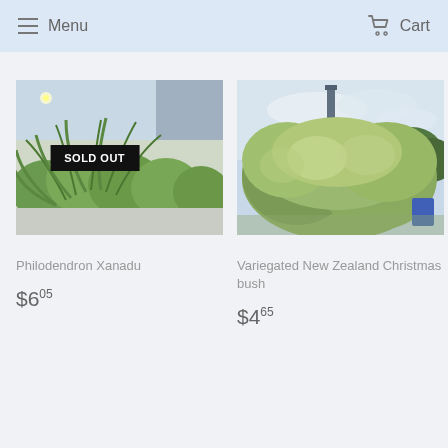Menu   Cart
[Figure (photo): Photo of Philodendron Xanadu plant with large green leaves against a building, with a SOLD OUT badge overlay]
[Figure (photo): Photo of Variegated New Zealand Christmas bush, a bushy green tree against a cloudy sky]
Philodendron Xanadu
$6.05
Variegated New Zealand Christmas bush
$4.65